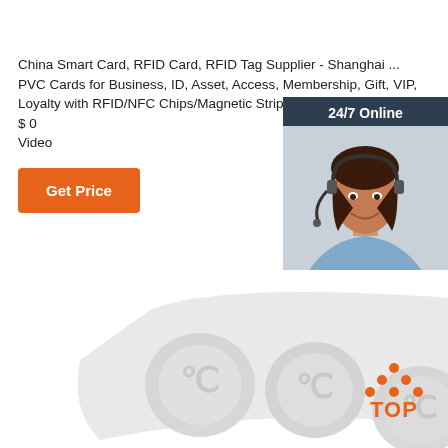China Smart Card, RFID Card, RFID Tag Supplier - Shanghai ...
PVC Cards for Business, ID, Asset, Access, Membership, Gift, VIP, Loyalty with RFID/NFC Chips/Magnetic Strip US $ 0... Video
[Figure (other): Get Price orange button]
[Figure (other): 24/7 Online chat widget with customer service representative photo, 'Click here for free chat!' text, and orange QUOTATION button]
[Figure (other): RFID NFC tag sticker strip showing multiple circular NFC tags on a white adhesive strip]
[Figure (other): Orange and red TOP button with dot pattern above]